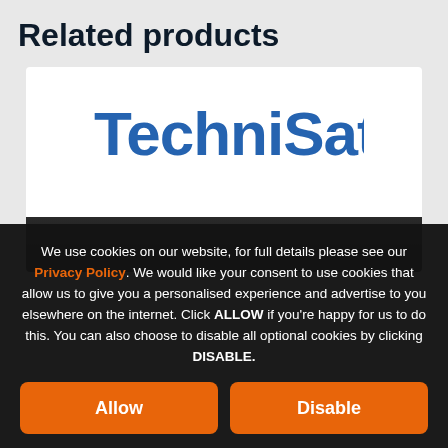Related products
[Figure (photo): TechniSat branded product image showing the TechniSat logo in blue text on white background with a black set-top box device at the bottom]
We use cookies on our website, for full details please see our Privacy Policy. We would like your consent to use cookies that allow us to give you a personalised experience and advertise to you elsewhere on the internet. Click ALLOW if you're happy for us to do this. You can also choose to disable all optional cookies by clicking DISABLE.
Allow
Disable